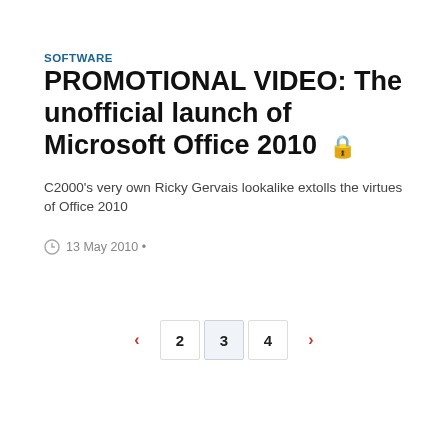SOFTWARE
PROMOTIONAL VIDEO: The unofficial launch of Microsoft Office 2010 🔒
C2000's very own Ricky Gervais lookalike extolls the virtues of Office 2010
13 May 2010 •
< 2 3 4 >